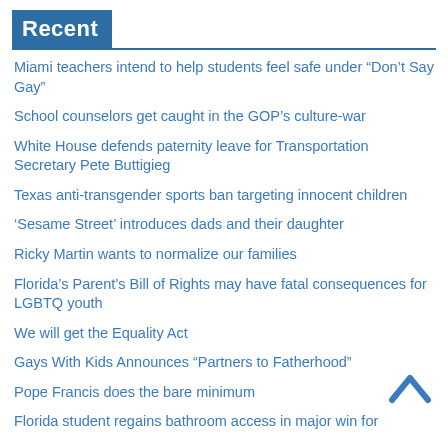Recent
Miami teachers intend to help students feel safe under “Don’t Say Gay”
School counselors get caught in the GOP’s culture-war
White House defends paternity leave for Transportation Secretary Pete Buttigieg
Texas anti-transgender sports ban targeting innocent children
‘Sesame Street’ introduces dads and their daughter
Ricky Martin wants to normalize our families
Florida’s Parent’s Bill of Rights may have fatal consequences for LGBTQ youth
We will get the Equality Act
Gays With Kids Announces “Partners to Fatherhood”
Pope Francis does the bare minimum
Florida student regains bathroom access in major win for